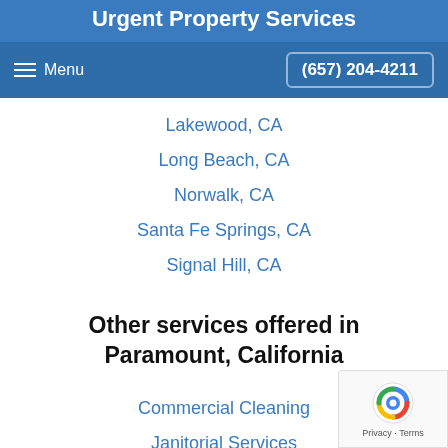Urgent Property Services
Menu   (657) 204-4211
Lakewood, CA
Long Beach, CA
Norwalk, CA
Santa Fe Springs, CA
Signal Hill, CA
Other services offered in Paramount, California
Commercial Cleaning
Janitorial Services